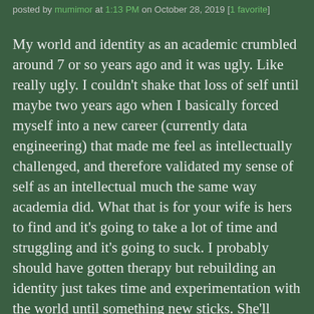posted by mumimor at 1:13 PM on October 28, 2019 [1 favorite]
My world and identity as an academic crumbled around 7 or so years ago and it was ugly. Like really ugly. I couldn't shake that loss of self until maybe two years ago when I basically forced myself into a new career (currently data engineering) that made me feel as intellectually challenged, and therefore validated my sense of self as an intellectual much the same way academia did. What that is for your wife is hers to find and it's going to take a lot of time and struggling and it's going to suck. I probably should have gotten therapy but rebuilding an identity just takes time and experimentation with the world until something new sticks. She'll want to go back, probably, in some capacity, which might not be a bad idea if she can stomach being a lecturer or an admin of some sort. I almost did but then I didn't. Moreover let her grieve and mourn herself as much as she needs to.